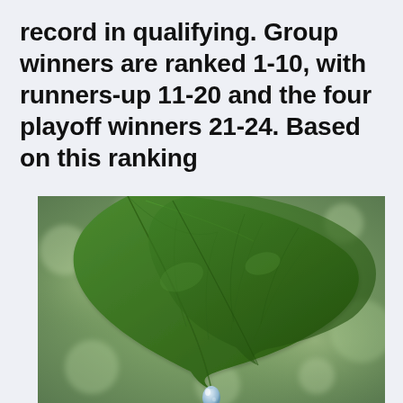record in qualifying. Group winners are ranked 1-10, with runners-up 11-20 and the four playoff winners 21-24. Based on this ranking
[Figure (photo): Close-up photograph of a green leaf with a water droplet hanging from its tip, against a blurred green background.]